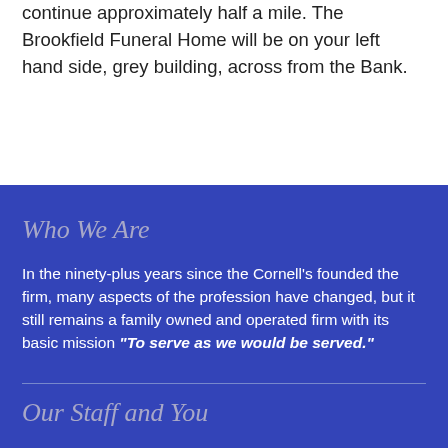continue approximately half a mile. The Brookfield Funeral Home will be on your left hand side, grey building, across from the Bank.
Who We Are
In the ninety-plus years since the Cornell's founded the firm, many aspects of the profession have changed, but it still remains a family owned and operated firm with its basic mission “To serve as we would be served.”
Our Staff and You